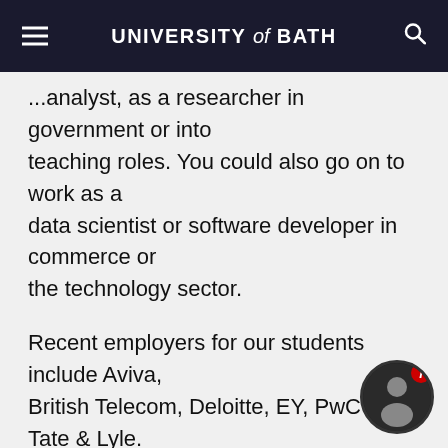UNIVERSITY of BATH
...analyst, as a researcher in government or into teaching roles. You could also go on to work as a data scientist or software developer in commerce or the technology sector.
Recent employers for our students include Aviva, British Telecom, Deloitte, EY, PwC and Tate & Lyle. Many of our graduates also choose to go on to postgraduate study in preparation for academic or industry-based research careers.
Find out more about what our graduates go on to do.